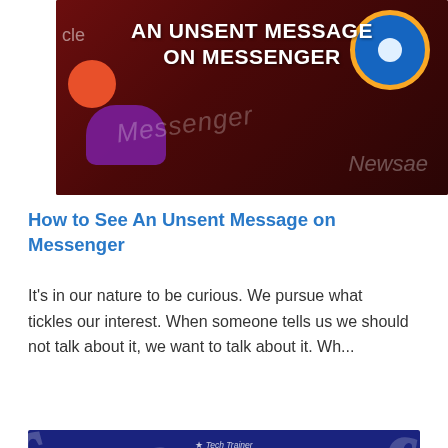[Figure (photo): Dark red/maroon background with Facebook Messenger app icon visible, showing 'AN UNSENT MESSAGE ON MESSENGER' text in white bold, with colorful circular icons and italic watermark text]
How to See An Unsent Message on Messenger
It's in our nature to be curious. We pursue what tickles our interest. When someone tells us we should not talk about it, we want to talk about it. Wh...
[Figure (photo): Dark navy blue background with Facebook 'f' logo icons scattered, showing 'HOW TO HIDE PHONE' text in white bold at bottom, with a small logo/watermark at top]